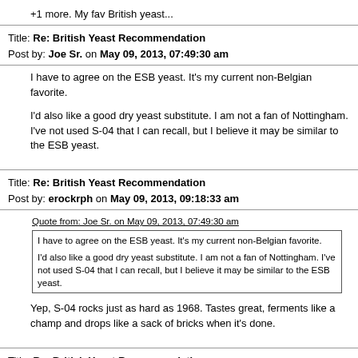+1 more.  My fav British yeast...
Title: Re: British Yeast Recommendation
Post by: Joe Sr. on May 09, 2013, 07:49:30 am
I have to agree on the ESB yeast.  It's my current non-Belgian favorite.

I'd also like a good dry yeast substitute.  I am not a fan of Nottingham.  I've not used S-04 that I can recall, but I believe it may be similar to the ESB yeast.
Title: Re: British Yeast Recommendation
Post by: erockrph on May 09, 2013, 09:18:33 am
Quote from: Joe Sr. on May 09, 2013, 07:49:30 am
I have to agree on the ESB yeast.  It's my current non-Belgian favorite.

I'd also like a good dry yeast substitute.  I am not a fan of Nottingham.  I've not used S-04 that I can recall, but I believe it may be similar to the ESB yeast.
Yep, S-04 rocks just as hard as 1968. Tastes great, ferments like a champ and drops like a sack of bricks when it's done.
Title: Re: British Yeast Recommendation
Post by: swampale on May 13, 2013, 05:50:33 am